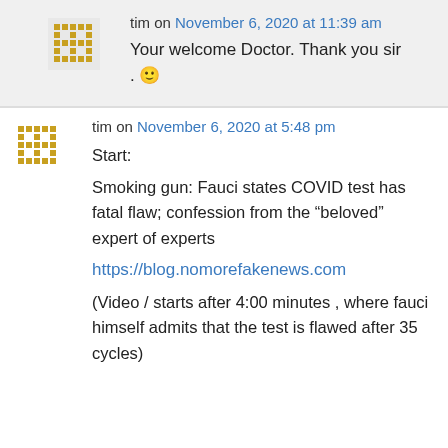tim on November 6, 2020 at 11:39 am
Your welcome Doctor. Thank you sir . 🙂
tim on November 6, 2020 at 5:48 pm
Start:
Smoking gun: Fauci states COVID test has fatal flaw; confession from the “beloved” expert of experts

https://blog.nomorefakenews.com

(Video / starts after 4:00 minutes , where fauci himself admits that the test is flawed after 35 cycles)